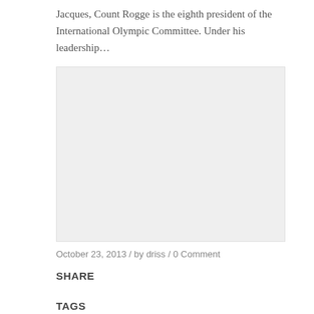Jacques, Count Rogge is the eighth president of the International Olympic Committee. Under his leadership…
[Figure (photo): Large gray placeholder image area]
October 23, 2013 / by driss / 0 Comment
SHARE
TAGS